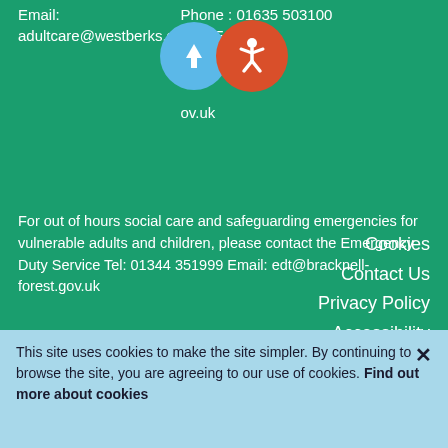Email: adultcare@westberks.gov.uk Email: fis@westberks.gov.uk Phone: 01635 503100
For out of hours social care and safeguarding emergencies for vulnerable adults and children, please contact the Emergency Duty Service Tel: 01344 351999 Email: edt@bracknell-forest.gov.uk
Cookies
Contact Us
Privacy Policy
Accessibility
Disclaimer
This site uses cookies to make the site simpler. By continuing to browse the site, you are agreeing to our use of cookies. Find out more about cookies